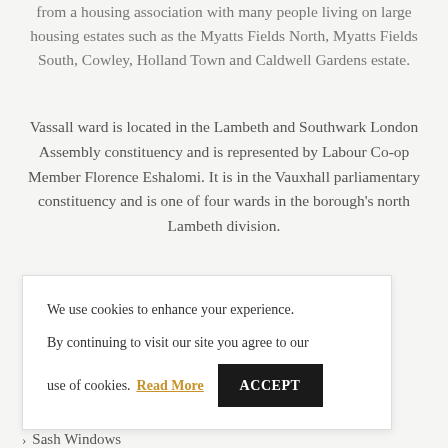from a housing association with many people living on large housing estates such as the Myatts Fields North, Myatts Fields South, Cowley, Holland Town and Caldwell Gardens estate.
Vassall ward is located in the Lambeth and Southwark London Assembly constituency and is represented by Labour Co-op Member Florence Eshalomi. It is in the Vauxhall parliamentary constituency and is one of four wards in the borough's north Lambeth division.
We use cookies to enhance your experience. By continuing to visit our site you agree to our use of cookies. Read More ACCEPT
Sash Windows